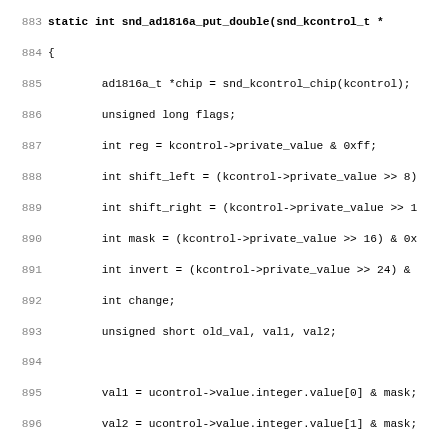[Figure (screenshot): Source code listing in C, lines 883-915, showing a kernel audio driver function for writing control values to an AD1816a chip, including variable declarations, bit manipulation, spin lock usage, and the start of a controls array definition.]